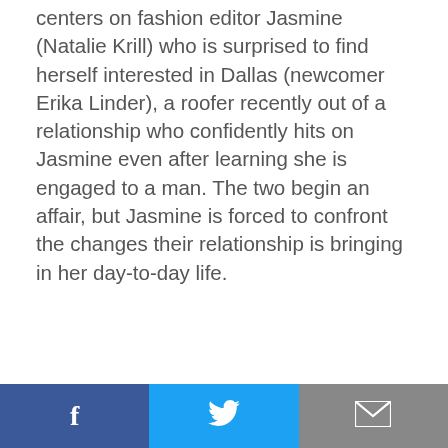centers on fashion editor Jasmine (Natalie Krill) who is surprised to find herself interested in Dallas (newcomer Erika Linder), a roofer recently out of a relationship who confidently hits on Jasmine even after learning she is engaged to a man. The two begin an affair, but Jasmine is forced to confront the changes their relationship is bringing in her day-to-day life.
[Figure (other): Social sharing footer bar with three buttons: Facebook (blue, f icon), Twitter (light blue, bird icon), Email (gray, envelope icon)]